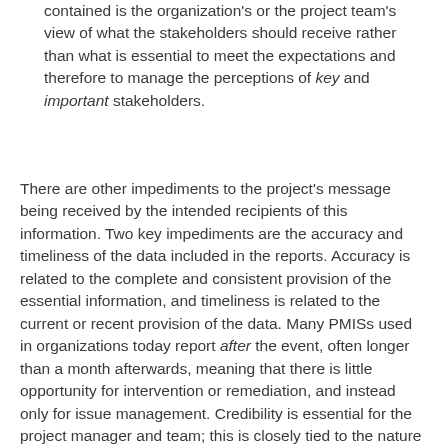contained is the organization's or the project team's view of what the stakeholders should receive rather than what is essential to meet the expectations and therefore to manage the perceptions of key and important stakeholders.
There are other impediments to the project's message being received by the intended recipients of this information. Two key impediments are the accuracy and timeliness of the data included in the reports. Accuracy is related to the complete and consistent provision of the essential information, and timeliness is related to the current or recent provision of the data. Many PMISs used in organizations today report after the event, often longer than a month afterwards, meaning that there is little opportunity for intervention or remediation, and instead only for issue management. Credibility is essential for the project manager and team; this is closely tied to the nature of the information received about the project. If essential information is inaccurate or received too late, it